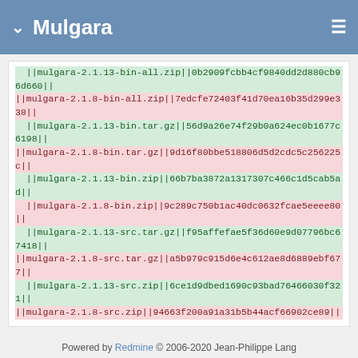Mulgara
||mulgara-2.1.13-bin-all.zip||0b2909fcbb4cf9840dd2d880cb96d660||
||mulgara-2.1.8-bin-all.zip||7edcfe72403f41d70ea16b35d299e338||
||mulgara-2.1.13-bin.tar.gz||56d9a26e74f29b0a624ec0b1677c6198||
||mulgara-2.1.8-bin.tar.gz||9d16f80bbe518806d5d2cdc5c256225c||
||mulgara-2.1.13-bin.zip||66b7ba3872a1317307c466c1d5cab5ad||
||mulgara-2.1.8-bin.zip||9c289c750b1ac40dc0632fcae5eeee80||
||mulgara-2.1.13-src.tar.gz||f95affefae5f36d60e9d07796bc67418||
||mulgara-2.1.8-src.tar.gz||a5b979c915d6e4c612ae8d6889ebf677||
||mulgara-2.1.13-src.zip||6ce1d9dbed1690c93bad76466030f321||
||mulgara-2.1.8-src.zip||94663f200a91a31b5b44acf66902ce89||
Powered by Redmine © 2006-2020 Jean-Philippe Lang